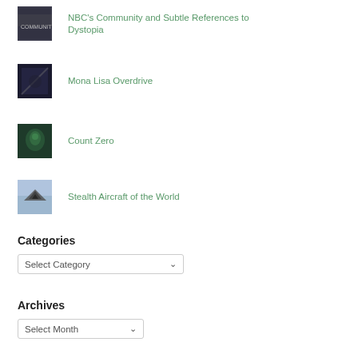NBC's Community and Subtle References to Dystopia
Mona Lisa Overdrive
Count Zero
Stealth Aircraft of the World
Categories
Select Category
Archives
Select Month